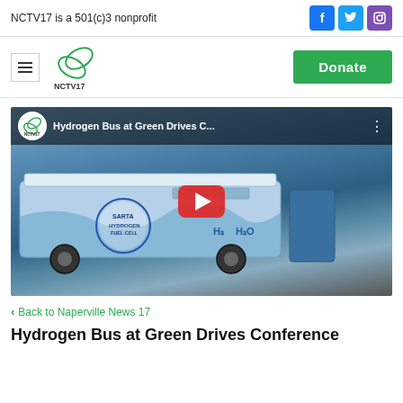NCTV17 is a 501(c)3 nonprofit
[Figure (logo): NCTV17 logo with hamburger menu and Donate button]
[Figure (screenshot): YouTube video thumbnail: Hydrogen Bus at Green Drives C... featuring a SARTA Hydrogen Fuel Cell bus with ZERO EMISSIONS label, red play button overlay, NCTV17 logo in top-left corner]
< Back to Naperville News 17
Hydrogen Bus at Green Drives Conference